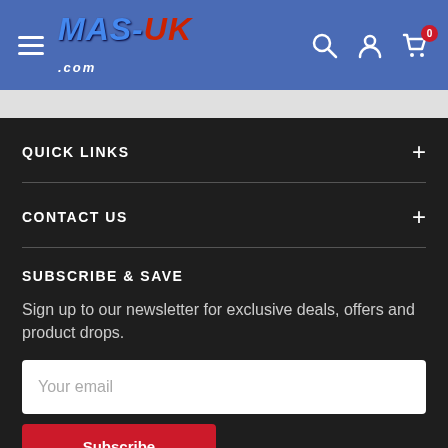MAS-UK.com header with navigation menu, search, account, and cart icons
QUICK LINKS
CONTACT US
SUBSCRIBE & SAVE
Sign up to our newsletter for exclusive deals, offers and product drops.
Your email
Subscribe